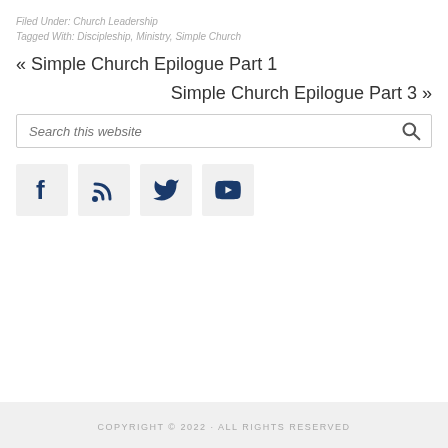Filed Under: Church Leadership
Tagged With: Discipleship, Ministry, Simple Church
« Simple Church Epilogue Part 1
Simple Church Epilogue Part 3 »
Search this website
[Figure (infographic): Four social media icon boxes: Facebook, RSS feed, Twitter, YouTube]
COPYRIGHT © 2022 · ALL RIGHTS RESERVED